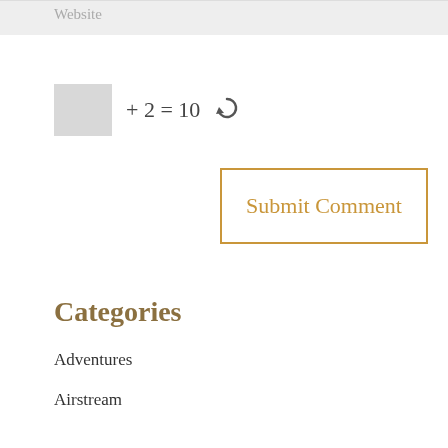Website
[Figure (other): CAPTCHA math puzzle input field: a grey box + 2 = 10 with a refresh icon]
Submit Comment
Categories
Adventures
Airstream